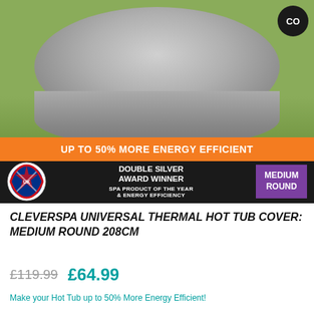[Figure (photo): A grey cylindrical thermal hot tub cover placed on green grass outdoors. An orange banner reads 'UP TO 50% MORE ENERGY EFFICIENT'. A black bar at the bottom shows a UK award logo, 'DOUBLE SILVER AWARD WINNER – SPA PRODUCT OF THE YEAR & ENERGY EFFICIENCY', and a purple badge reading 'MEDIUM ROUND'. A dark circular badge in the top right corner shows 'CO'.]
CLEVERSPA UNIVERSAL THERMAL HOT TUB COVER: MEDIUM ROUND 208CM
£119.99  £64.99
Make your Hot Tub up to 50% More Energy Efficient!